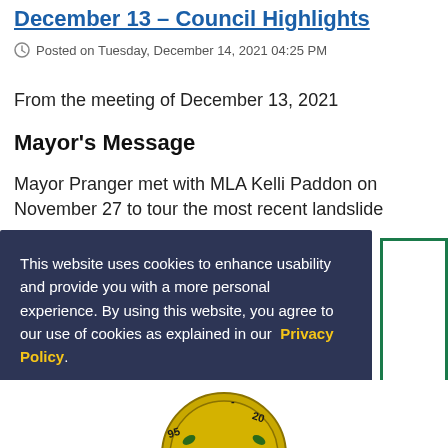December 13 – Council Highlights
Posted on Tuesday, December 14, 2021 04:25 PM
From the meeting of December 13, 2021
Mayor's Message
Mayor Pranger met with MLA Kelli Paddon on November 27 to tour the most recent landslide
This website uses cookies to enhance usability and provide you with a more personal experience. By using this website, you agree to our use of cookies as explained in our Privacy Policy.
Agree
[Figure (logo): Partial view of a circular municipal seal/logo at the bottom of the page]